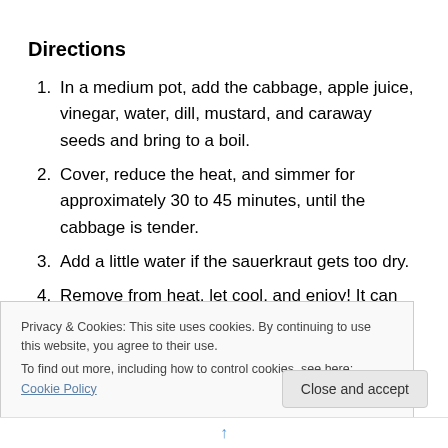Directions
In a medium pot, add the cabbage, apple juice, vinegar, water, dill, mustard, and caraway seeds and bring to a boil.
Cover, reduce the heat, and simmer for approximately 30 to 45 minutes, until the cabbage is tender.
Add a little water if the sauerkraut gets too dry.
Remove from heat, let cool, and enjoy! It can keep for
Privacy & Cookies: This site uses cookies. By continuing to use this website, you agree to their use.
To find out more, including how to control cookies, see here: Cookie Policy
Close and accept